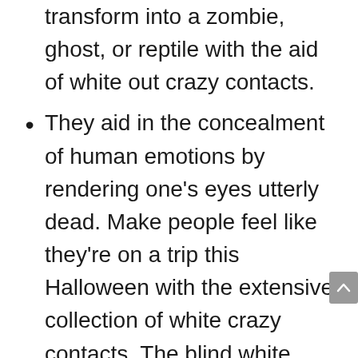transform into a zombie, ghost, or reptile with the aid of white out crazy contacts.
They aid in the concealment of human emotions by rendering one's eyes utterly dead. Make people feel like they're on a trip this Halloween with the extensive collection of white crazy contacts. The blind white contact lenses are a pleasure for crazy people since they are suitable for a variety of costumes.
These Barbie white contacts are inexpensive and available to everyone,